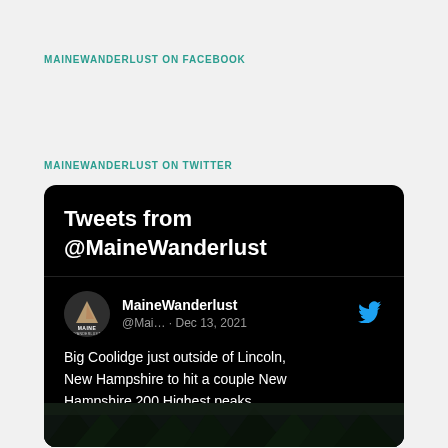MAINEWANDERLUST ON FACEBOOK
MAINEWANDERLUST ON TWITTER
[Figure (screenshot): Twitter embed widget showing tweets from @MaineWanderlust. Header reads 'Tweets from @MaineWanderlust'. Below is a tweet by MaineWanderlust (@Mai...) dated Dec 13, 2021, reading: 'Big Coolidge just outside of Lincoln, New Hampshire to hit a couple New Hampshire 200 Highest peaks. #optoutside #nh200 maine-wanderlust.com/2021/12/12/bus…'. A partial forest/nature photo is visible at bottom.]